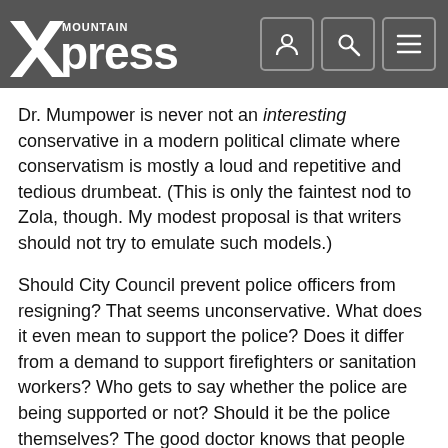Mountain Xpress
Dr. Mumpower is never not an interesting conservative in a modern political climate where conservatism is mostly a loud and repetitive and tedious drumbeat. (This is only the faintest nod to Zola, though. My modest proposal is that writers should not try to emulate such models.)
Should City Council prevent police officers from resigning? That seems unconservative. What does it even mean to support the police? Does it differ from a demand to support firefighters or sanitation workers? Who gets to say whether the police are being supported or not? Should it be the police themselves? The good doctor knows that people are often not the best judges of whether they are being supported. And if not the police, who earns the right to pass judgment?
Should officers be paid more? Then that will require money to pay them. Should revenues be diverted from the